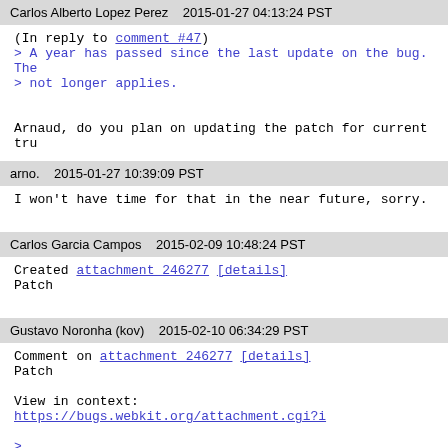Carlos Alberto Lopez Perez    2015-01-27 04:13:24 PST
(In reply to comment #47)
> A year has passed since the last update on the bug. The
> not longer applies.

Arnaud, do you plan on updating the patch for current tru
arno.    2015-01-27 10:39:09 PST
I won't have time for that in the near future, sorry.
Carlos Garcia Campos    2015-02-09 10:48:24 PST
Created attachment 246277 [details]
Patch
Gustavo Noronha (kov)    2015-02-10 06:34:29 PST
Comment on attachment 246277 [details]
Patch

View in context: https://bugs.webkit.org/attachment.cgi?i

> Source/WebKit2/UIProcess/API/gtk/WebKitColorChooserRem